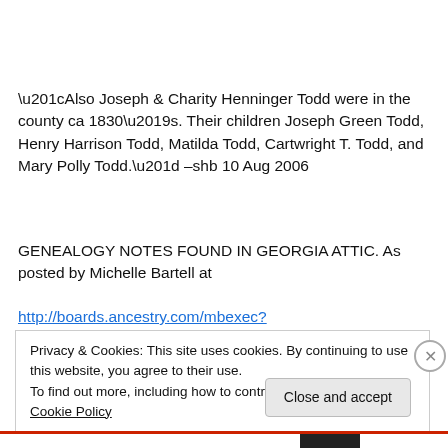“Also Joseph & Charity Henninger Todd were in the county ca 1830’s. Their children Joseph Green Todd, Henry Harrison Todd, Matilda Todd, Cartwright T. Todd, and Mary Polly Todd.” –shb 10 Aug 2006
GENEALOGY NOTES FOUND IN GEORGIA ATTIC. As posted by Michelle Bartell at
http://boards.ancestry.com/mbexec?
Privacy & Cookies: This site uses cookies. By continuing to use this website, you agree to their use.
To find out more, including how to control cookies, see here: Cookie Policy
Close and accept